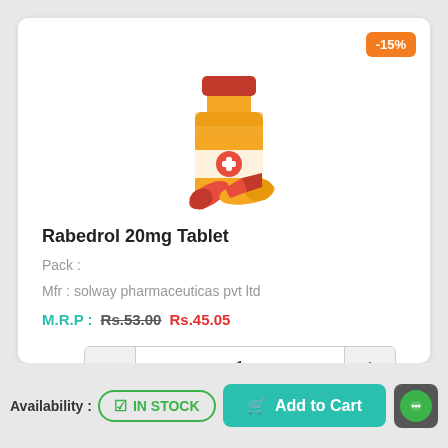[Figure (illustration): A cartoon illustration of a medicine bottle (amber/orange with red cap) and pills/capsules (red and orange) next to it, representing medication.]
Rabedrol 20mg Tablet
Pack :
Mfr : solway pharmaceuticas pvt ltd
M.R.P : Rs.53.00 Rs.45.05
-15%
1
Add to Cart
Availability :
IN STOCK